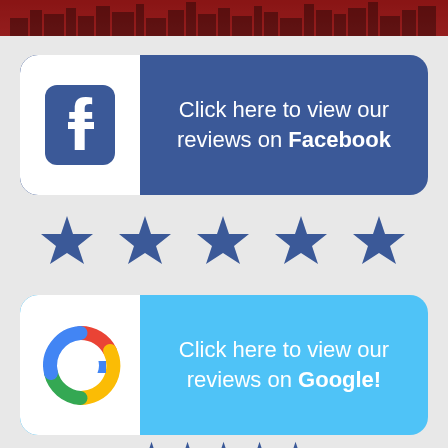[Figure (infographic): Red skyline/cityscape header strip at top of page]
[Figure (infographic): Facebook review button: white box with Facebook 'f' logo on left, dark blue box on right with text 'Click here to view our reviews on Facebook']
[Figure (infographic): Five dark blue stars rating row]
[Figure (infographic): Google review button: white box with Google 'G' logo on left, light blue box on right with text 'Click here to view our reviews on Google!']
[Figure (infographic): Partial blue stars row at bottom (cut off)]